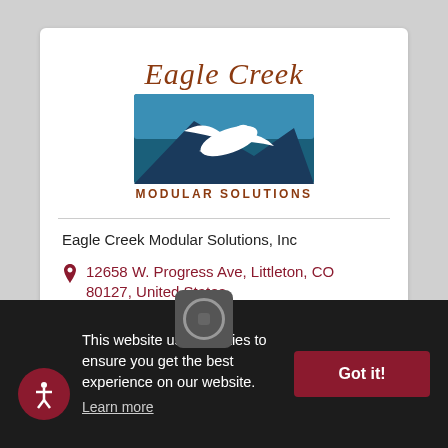[Figure (logo): Eagle Creek Modular Solutions logo with cursive text and eagle graphic over blue mountain/sky background]
Eagle Creek Modular Solutions, Inc
12658 W. Progress Ave, Littleton, CO 80127, United States
(303) 987-0700
Visit Website
This website uses cookies to ensure you get the best experience on our website. Learn more